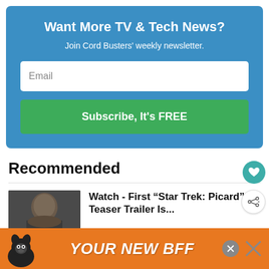Want More TV & Tech News?
Join Cord Busters' weekly newsletter.
Email
Subscribe, It's FREE
Recommended
Watch - First “Star Trek: Picard” Teaser Trailer Is...
[Figure (photo): Thumbnail image of a person, likely promotional image for Star Trek: Picard article]
[Figure (infographic): Advertisement banner with orange background showing a dog illustration and text 'YOUR NEW BFF']